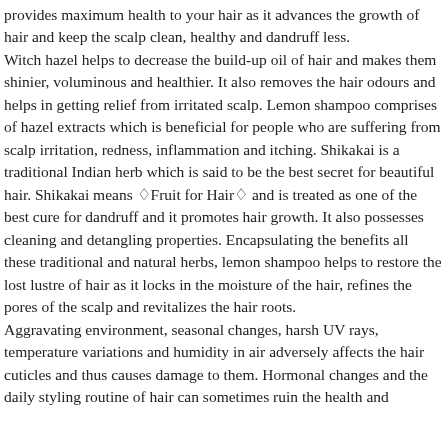provides maximum health to your hair as it advances the growth of hair and keep the scalp clean, healthy and dandruff less. Witch hazel helps to decrease the build-up oil of hair and makes them shinier, voluminous and healthier. It also removes the hair odours and helps in getting relief from irritated scalp. Lemon shampoo comprises of hazel extracts which is beneficial for people who are suffering from scalp irritation, redness, inflammation and itching. Shikakai is a traditional Indian herb which is said to be the best secret for beautiful hair. Shikakai means âFruit for Hairâ and is treated as one of the best cure for dandruff and it promotes hair growth. It also possesses cleaning and detangling properties. Encapsulating the benefits all these traditional and natural herbs, lemon shampoo helps to restore the lost lustre of hair as it locks in the moisture of the hair, refines the pores of the scalp and revitalizes the hair roots. Aggravating environment, seasonal changes, harsh UV rays, temperature variations and humidity in air adversely affects the hair cuticles and thus causes damage to them. Hormonal changes and the daily styling routine of hair can sometimes ruin the health and